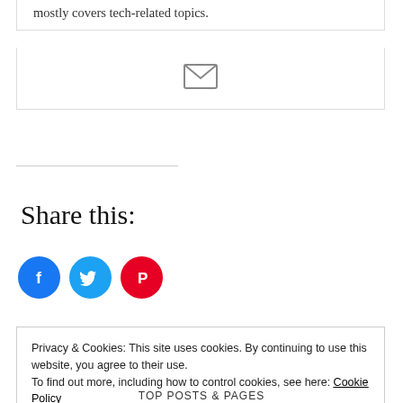mostly covers tech-related topics.
[Figure (illustration): Email envelope icon, gray, centered in a white card with border]
Share this:
[Figure (illustration): Three social media circular icon buttons: Facebook (blue), Twitter (light blue), Pinterest (red)]
Privacy & Cookies: This site uses cookies. By continuing to use this website, you agree to their use.
To find out more, including how to control cookies, see here: Cookie Policy
Close and accept
TOP POSTS & PAGES